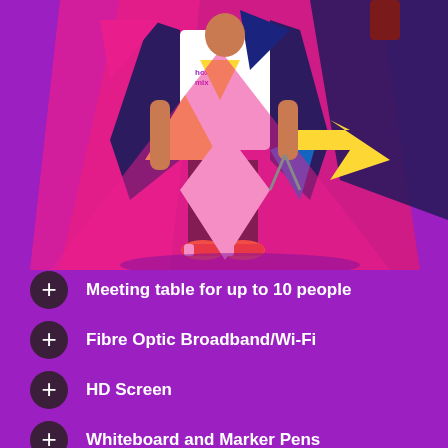[Figure (illustration): Illustrated person wearing a Hox & Mix branded t-shirt, surrounded by colorful geometric shapes (triangles in pink, yellow, blue, dark blue) on a bright purple background. The figure is shown from torso down, wearing black pants and orange sneakers.]
Meeting table for up to 10 people
Fibre Optic Broadband/Wi-Fi
HD Screen
Whiteboard and Marker Pens